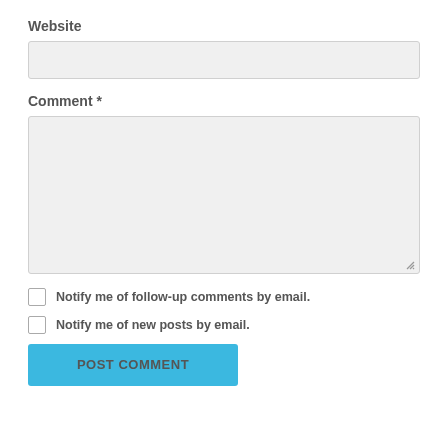Website
[Figure (other): Text input field for Website URL]
Comment *
[Figure (other): Textarea input field for Comment]
Notify me of follow-up comments by email.
Notify me of new posts by email.
POST COMMENT